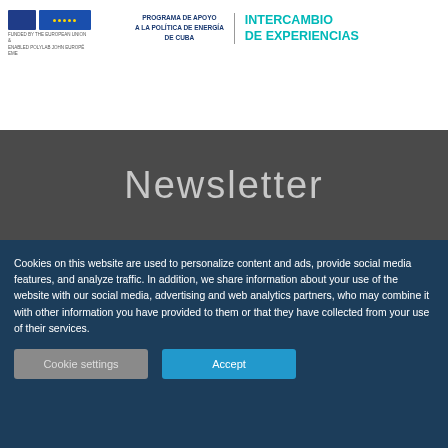[Figure (logo): EU funded project logo and PAPEC INTERCAMBIO DE EXPERIENCIAS header logo with blue emblem and teal text]
Newsletter
Cookies on this website are used to personalize content and ads, provide social media features, and analyze traffic. In addition, we share information about your use of the website with our social media, advertising and web analytics partners, who may combine it with other information you have provided to them or that they have collected from your use of their services.
Cookie settings | Accept